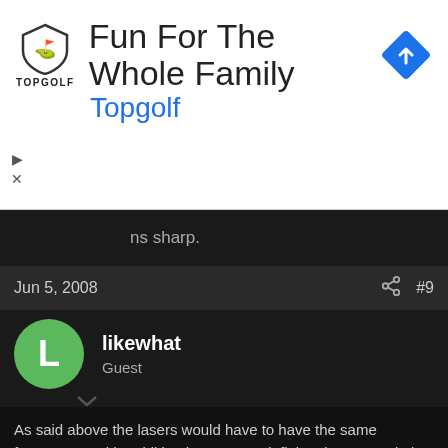[Figure (other): Topgolf advertisement banner with shield logo, 'Fun For The Whole Family' headline, 'Topgolf' link in blue, and a blue diamond navigation arrow icon on the right]
ns sharp.
Jun 5, 2008    #9
likewhat
Guest
As said above the lasers would have to have the same frequency and in addition have some definite phase correlation in order to "cancel" the light.
Even if you use actively stabilized lasers the instantaneous linewidth of which can be one the order a few Hz that means that after a second the phase would have changed relative to another laser of the same frequency. Even the world record most highly stabilized lasers would only perfectly destructively